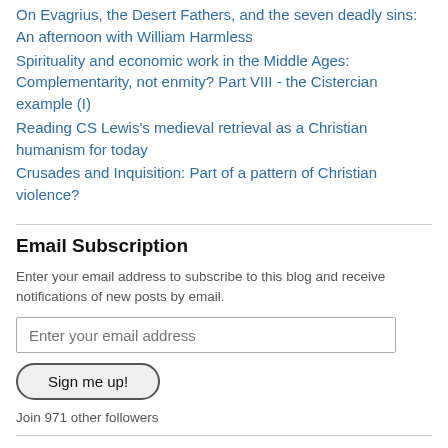On Evagrius, the Desert Fathers, and the seven deadly sins: An afternoon with William Harmless
Spirituality and economic work in the Middle Ages: Complementarity, not enmity? Part VIII - the Cistercian example (I)
Reading CS Lewis's medieval retrieval as a Christian humanism for today
Crusades and Inquisition: Part of a pattern of Christian violence?
Email Subscription
Enter your email address to subscribe to this blog and receive notifications of new posts by email.
Enter your email address
Sign me up!
Join 971 other followers